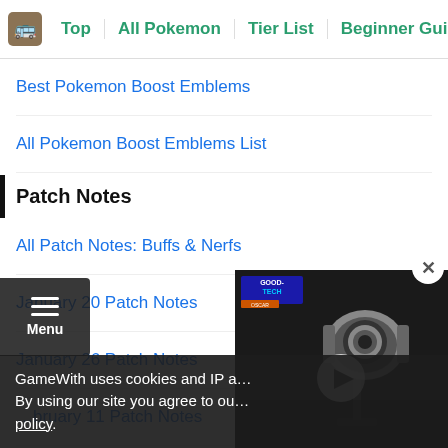Top | All Pokemon | Tier List | Beginner Guide | Held I…
Best Pokemon Boost Emblems
All Pokemon Boost Emblems List
Patch Notes
All Patch Notes: Buffs & Nerfs
January 20 Patch Notes
January 26 Patch Notes
…bruary 11 Patch Notes
February 24 Patch Notes
March 11 Patch Notes
[Figure (screenshot): Video player thumbnail showing a camera/webcam product with GoodTech branding badge and a play button overlay]
GameWith uses cookies and IP a… By using our site you agree to ou… policy.